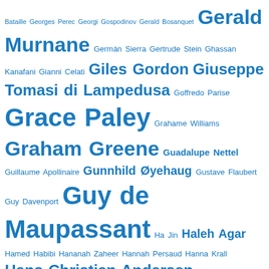Bataille Georges Perec Georgi Gospodinov Gerald Bosanquet Gerald Murnane Germán Sierra Gertrude Stein Ghassan Kanafani Gianni Celati Giles Gordon Giuseppe Tomasi di Lampedusa Goffredo Parise Grace Paley Grahame Williams Graham Greene Guadalupe Nettel Guillaume Apollinaire Gunnhild Øyehaug Gustave Flaubert Guy Davenport Guy de Maupassant Ha Jin Haleh Agar Hamed Habibi Hananah Zaheer Hannah Persaud Hanna Krall Hans Christian Andersen Hansda Sowvendra Shekhar Harlan Ellison Harry E Turner Haruki Murakami Hassan Blasim Hawa Jande Golakai Hazel Campbell HE Bates Heidi James Heinrich Böll Heinrich von Kleist Helen de Witt Helen Dunmore Helen Ellis Helen Harris Helen McClory Helen Oyeyemi Helen Simpson Henrietta Rose-Innes Henry Dumas Henry James Herman Melville Hervé Guibert HG Wells Hideo Furukawa Hilma Wolitzer Hiroko Oyamada Hiromi Kawakami Hitomi Kanehara Hjalmar Söderberg Holly Pester Honoré de Balzac Horacio Quiroga Ho Sok Fong Howard Nemerov Howard Waldrop HP Lovecraft Hubert Selby Jr Hugo von Hofmannsthal Hüseyn Mənzər Hélio Carvão Ian...